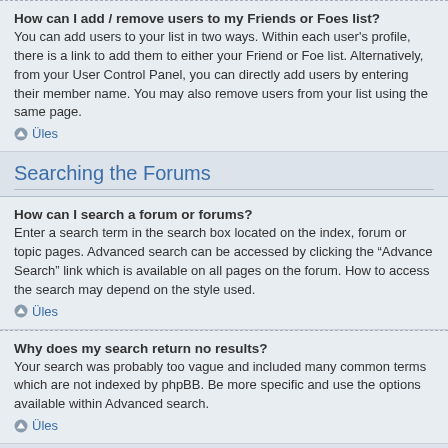How can I add / remove users to my Friends or Foes list?
You can add users to your list in two ways. Within each user's profile, there is a link to add them to either your Friend or Foe list. Alternatively, from your User Control Panel, you can directly add users by entering their member name. You may also remove users from your list using the same page.
Üles
Searching the Forums
How can I search a forum or forums?
Enter a search term in the search box located on the index, forum or topic pages. Advanced search can be accessed by clicking the “Advance Search” link which is available on all pages on the forum. How to access the search may depend on the style used.
Üles
Why does my search return no results?
Your search was probably too vague and included many common terms which are not indexed by phpBB. Be more specific and use the options available within Advanced search.
Üles